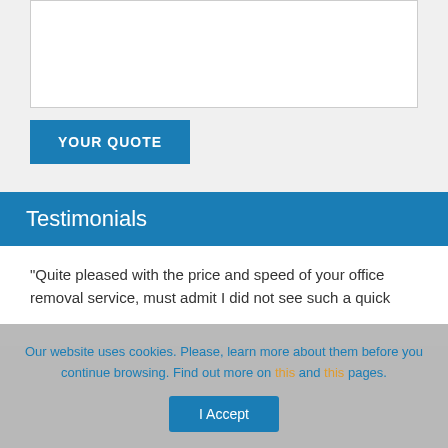[Figure (other): Text area input box (empty, white background with border)]
YOUR QUOTE
Testimonials
"Quite pleased with the price and speed of your office removal service, must admit I did not see such a quick
Our website uses cookies. Please, learn more about them before you continue browsing. Find out more on this and this pages.
I Accept